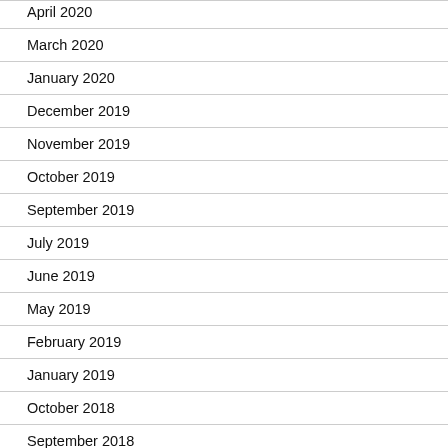April 2020
March 2020
January 2020
December 2019
November 2019
October 2019
September 2019
July 2019
June 2019
May 2019
February 2019
January 2019
October 2018
September 2018